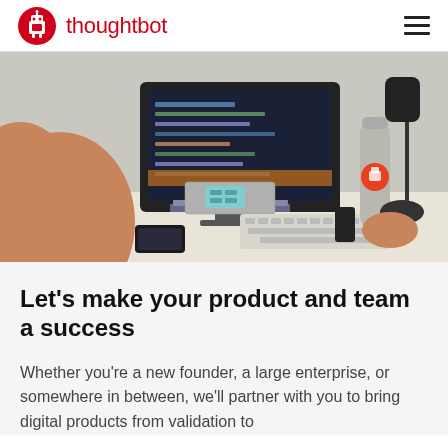thoughtbot
[Figure (photo): Person sitting at a desk with a large iMac monitor displaying code, books stacked underneath, a metal water bottle with a thoughtbot sticker, a microphone, keyboard, and a smartphone on the desk.]
Let's make your product and team a success
Whether you're a new founder, a large enterprise, or somewhere in between, we'll partner with you to bring digital products from validation to